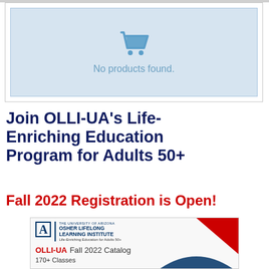[Figure (screenshot): Empty shopping cart state box with blue background showing a shopping cart icon and the text 'No products found.']
Join OLLI-UA's Life-Enriching Education Program for Adults 50+
Fall 2022 Registration is Open!
[Figure (screenshot): OLLI-UA Fall 2022 Catalog cover image showing University of Arizona Osher Lifelong Learning Institute logo, 'OLLI-UA Fall 2022 Catalog', '170+ Classes', red triangle accent, and blue arc design element.]